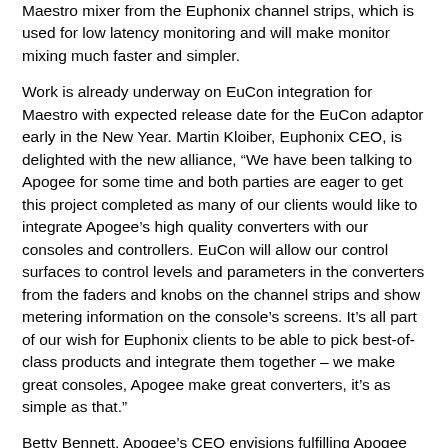Maestro mixer from the Euphonix channel strips, which is used for low latency monitoring and will make monitor mixing much faster and simpler.
Work is already underway on EuCon integration for Maestro with expected release date for the EuCon adaptor early in the New Year. Martin Kloiber, Euphonix CEO, is delighted with the new alliance, "We have been talking to Apogee for some time and both parties are eager to get this project completed as many of our clients would like to integrate Apogee’s high quality converters with our consoles and controllers. EuCon will allow our control surfaces to control levels and parameters in the converters from the faders and knobs on the channel strips and show metering information on the console’s screens. It’s all part of our wish for Euphonix clients to be able to pick best-of-class products and integrate them together – we make great consoles, Apogee make great converters, it’s as simple as that."
Betty Bennett, Apogee’s CEO envisions fulfilling Apogee customer’s needs for a precision control surface that meets